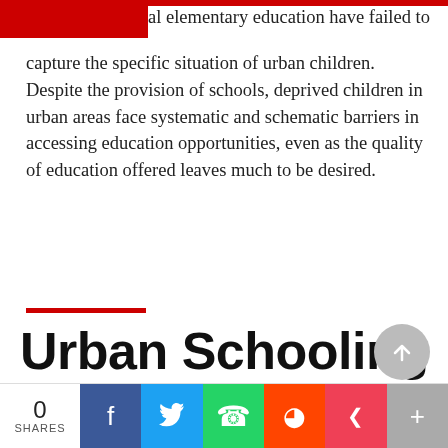al elementary education have failed to capture the specific situation of urban children. Despite the provision of schools, deprived children in urban areas face systematic and schematic barriers in accessing education opportunities, even as the quality of education offered leaves much to be desired.
Urban Schooling
Mired in Apathy and Prejudice
Policies and programmes designed to ensure universal elementary education have failed to